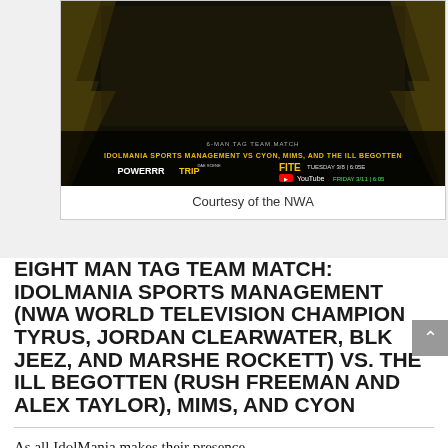[Figure (photo): NWA wrestling promotional image for an 8-Man Tag Team Match: Idolmania Sports Management vs Cyon, Mims, and The Ill Begotten. Shows wrestlers against a dark background with lightning effects. Includes POWERRRTRIP and FITE logos with broadcast dates Tuesday 3/8 at 6:05E and YouTube Friday 3/11.]
Courtesy of the NWA
EIGHT MAN TAG TEAM MATCH:  IDOLMANIA SPORTS MANAGEMENT (NWA WORLD TELEVISION CHAMPION TYRUS, JORDAN CLEARWATER, BLK JEEZ, AND MARSHE ROCKETT) VS. THE ILL BEGOTTEN (RUSH FREEMAN AND ALEX TAYLOR), MIMS, AND CYON
As all IdolMania makes their presence